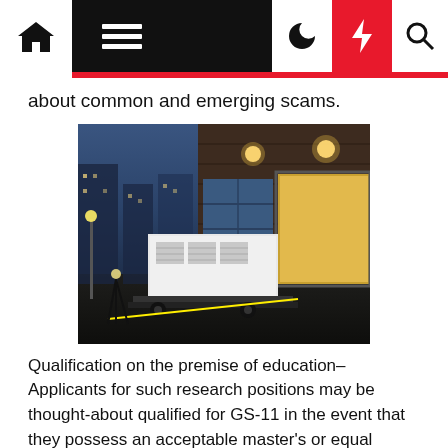Navigation bar with home, menu, dark mode, lightning, and search icons
about common and emerging scams.
[Figure (photo): A white industrial generator or large equipment unit on a trailer, parked in front of a brick building with an open bay door lit from inside, photographed at dusk/night with city buildings visible in background.]
Qualification on the premise of education– Applicants for such research positions may be thought-about qualified for GS-11 in the event that they possess an acceptable master's or equal graduate diploma, and qualified for GS-12 if they